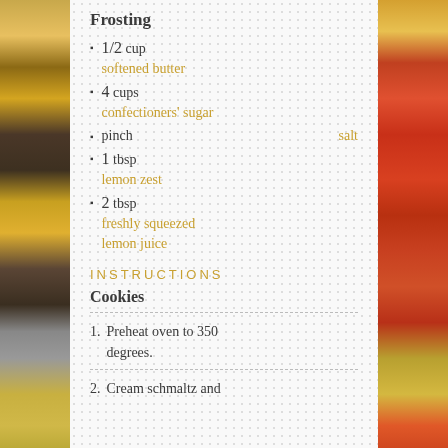Frosting
1/2 cup softened butter
4 cups confectioners' sugar
pinch salt
1 tbsp lemon zest
2 tbsp freshly squeezed lemon juice
INSTRUCTIONS
Cookies
1. Preheat oven to 350 degrees.
2. Cream schmaltz and